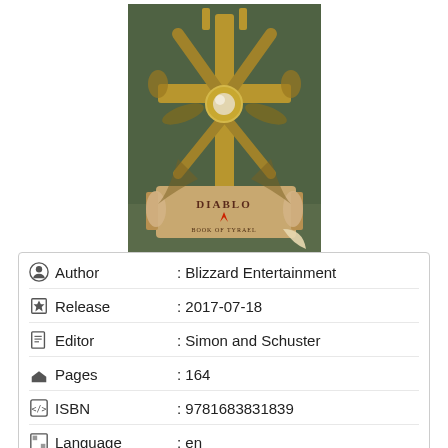[Figure (illustration): Book cover of Diablo III art book by Blizzard Entertainment, featuring ornate golden/bronze cross-like emblem on green-teal background, with a scroll-like banner at bottom reading DIABLO III]
| Author | : Blizzard Entertainment |
| Release | : 2017-07-18 |
| Editor | : Simon and Schuster |
| Pages | : 164 |
| ISBN | : 9781683831839 |
| Language | : en |
| Available for | : [icons] |